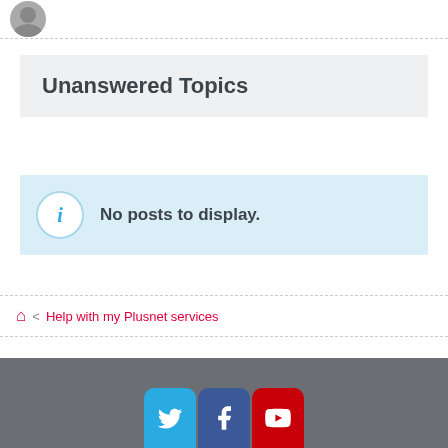Unanswered Topics
No posts to display.
Help with my Plusnet services
[Figure (other): Social media icons: Twitter, Facebook, YouTube in footer bar]